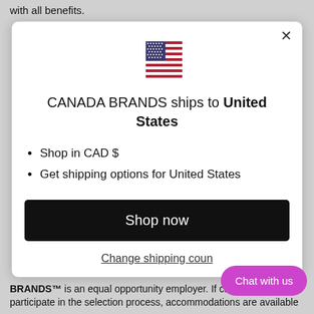with all benefits.
[Figure (screenshot): Modal dialog: US flag icon, text 'CANADA BRANDS ships to United States', bullet points about CAD$ and shipping, Shop now button, Change shipping country link, Chat with us button]
BRANDS™ is an equal opportunity employer. If chosen to participate in the selection process, accommodations are available